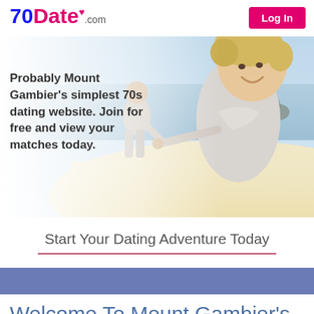[Figure (photo): Header with 70Date.com logo on the left and a pink 'Log In' button on the right, over a hero photo of two older adults running on a beach - a smiling older woman in the foreground with short blonde hair, and an older man behind her, both happy.]
Probably Mount Gambier's simplest 70s dating website. Join for free and view your matches today.
Start Your Dating Adventure Today
Welcome To Mount Gambier's Over 70s Dating Website...